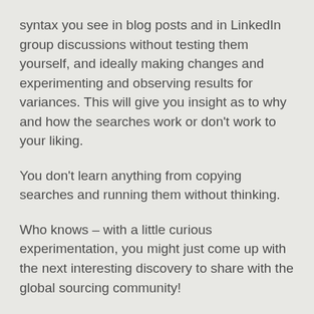syntax you see in blog posts and in LinkedIn group discussions without testing them yourself, and ideally making changes and experimenting and observing results for variances. This will give you insight as to why and how the searches work or don't work to your liking.
You don't learn anything from copying searches and running them without thinking.
Who knows – with a little curious experimentation, you might just come up with the next interesting discovery to share with the global sourcing community!